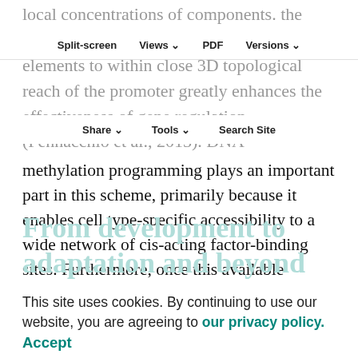local concentrations of components. the ability to recruit multiple regulatory elements to within close 3D topological reach of the promoter greatly enhances the effectiveness of gene regulation (Pennacchio et al., 2013). DNA methylation programming plays an important part in this scheme, primarily because it enables cell type-specific accessibility to a wide network of cis-acting factor-binding sites. Furthermore, once this available chromatin configuration is established, it will then be maintained even after the original pioneer factors are no longer present, with the new methylation pattern itself thus serving as a template of stable cell identity (Mayran et al., 2018; Reizel et al., 2021).
Split-screen  Views  PDF  Versions  Share  Tools  Search Site
From development to adaptation and beyond
This site uses cookies. By continuing to use our website, you are agreeing to our privacy policy. Accept